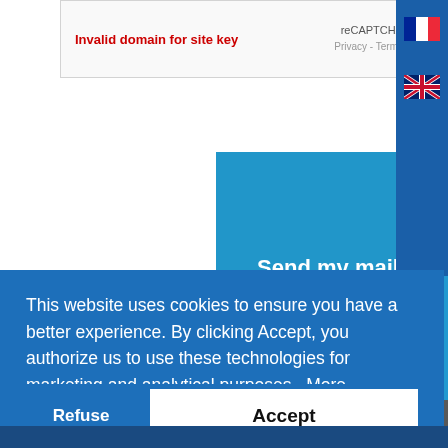Invalid domain for site key
reCAPTCHA
Privacy - Terms
Send my mail
This website uses cookies to ensure you have a better experience. By clicking Accept, you authorize us to use these technologies for marketing and analytical purposes.  More
Refuse
Accept